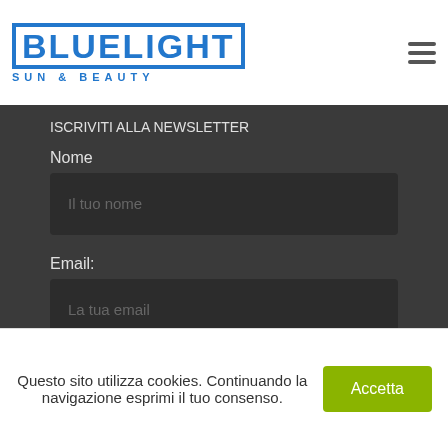bluelight SUN & BEAUTY
Nome
Il tuo nome
Email:
La tua email
ISCRIVIMI
Contatti
Questo sito utilizza cookies. Continuando la navigazione esprimi il tuo consenso.
Accetta